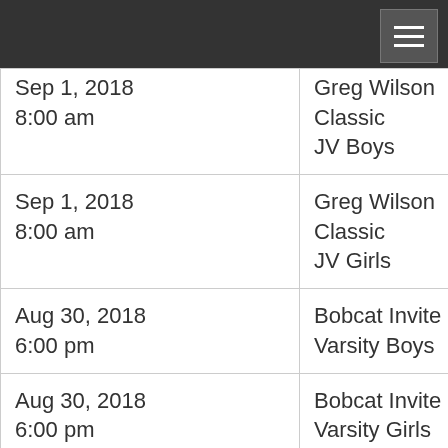| Date/Time | Event |
| --- | --- |
| Sep 1, 2018
8:00 am | Greg Wilson Classic
JV Boys |
| Sep 1, 2018
8:00 am | Greg Wilson Classic
JV Girls |
| Aug 30, 2018
6:00 pm | Bobcat Invite
Varsity Boys |
| Aug 30, 2018
6:00 pm | Bobcat Invite
Varsity Girls |
| Aug 30, 2018
5:00 pm | Bobcat Invite
8th Grade Boys |
| Aug 30, 2018 | Bobcat Invite |